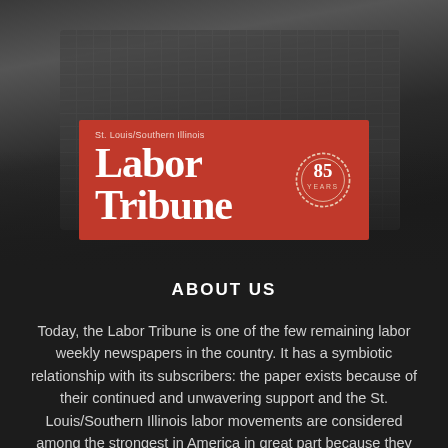[Figure (photo): Dark background photo of a laptop keyboard, partially visible, creating a dark moody backdrop]
[Figure (logo): St. Louis/Southern Illinois Labor Tribune logo on red background with 85 Years badge]
ABOUT US
Today, the Labor Tribune is one of the few remaining labor weekly newspapers in the country. It has a symbiotic relationship with its subscribers: the paper exists because of their continued and unwavering support and the St. Louis/Southern Illinois labor movements are considered among the strongest in America in great part because they have a solid, strong voice that allows their positions to be heard in the general community.